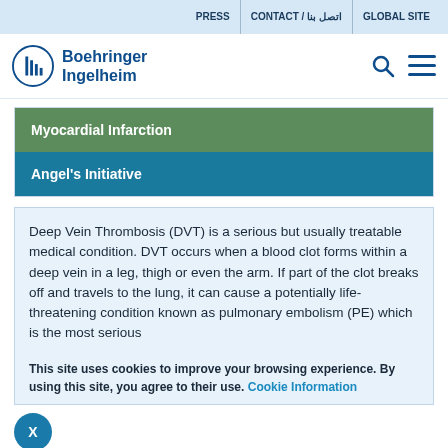PRESS | CONTACT / اتصل بنا | GLOBAL SITE
[Figure (logo): Boehringer Ingelheim logo with circular building icon]
Myocardial Infarction
Angel's Initiative
Deep Vein Thrombosis (DVT) is a serious but usually treatable medical condition. DVT occurs when a blood clot forms within a deep vein in a leg, thigh or even the arm. If part of the clot breaks off and travels to the lung, it can cause a potentially life-threatening condition known as pulmonary embolism (PE) which is the most serious
This site uses cookies to improve your browsing experience. By using this site, you agree to their use. Cookie Information